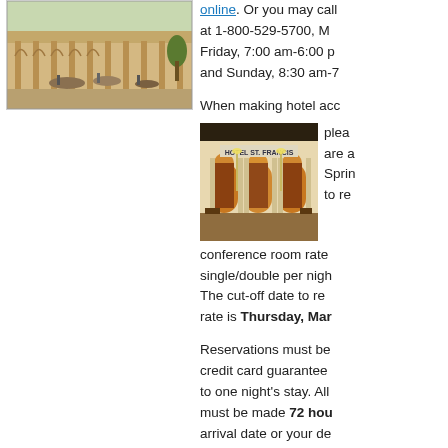[Figure (photo): Vintage postcard image of a Southwestern-style building with arched colonnade, people and horses outside]
online. Or you may call at 1-800-529-5700, M Friday, 7:00 am-6:00 p and Sunday, 8:30 am-7
When making hotel acc
[Figure (photo): Photo of Hotel St. Francis entrance with arched doorways, warm lighting, and outdoor seating]
please are a Sprin to re conference room rate single/double per nigh The cut-off date to re rate is Thursday, Mar
Reservations must be credit card guarantee to one night's stay. All must be made 72 hou arrival date or your de forfeited.